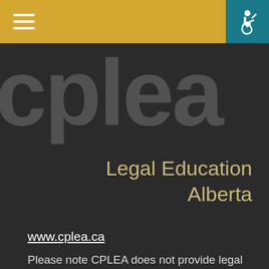[Figure (logo): CPLEA Legal Education Alberta logo — large white 'cplea' text in background with 'Legal Education Alberta' subtitle in gold/tan color on dark background, with gold navigation bar at top containing hamburger menu and teal accessibility icon]
www.cplea.ca
Please note CPLEA does not provide legal advice or legal representation. For publication and resource requests, click here.
Disclaimer
This website provides legal information for Albertans...